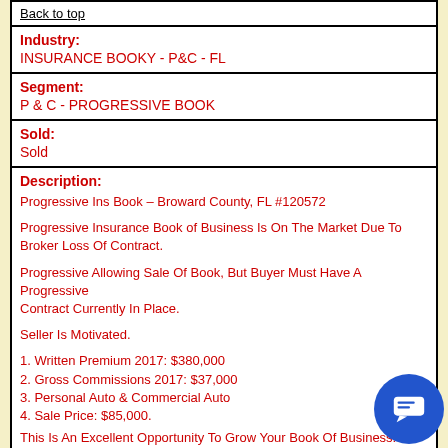Back to top
| Industry: | INSURANCE BOOKY - P&C - FL |
| Segment: | P & C - PROGRESSIVE BOOK |
| Sold: | Sold |
| Description: | Progressive Ins Book – Broward County, FL #120572

Progressive Insurance Book of Business Is On The Market Due To Broker Loss Of Contract.

Progressive Allowing Sale Of Book, But Buyer Must Have A Progressive Contract Currently In Place.

Seller Is Motivated.

1. Written Premium 2017: $380,000
2. Gross Commissions 2017: $37,000
3. Personal Auto & Commercial Auto
4. Sale Price: $85,000.

This Is An Excellent Opportunity To Grow Your Book Of Business.

SALE PRICE is $85,000.

This Is An Excellent Business Opportunity For An Agent Or Agency To Purchase This Book. |